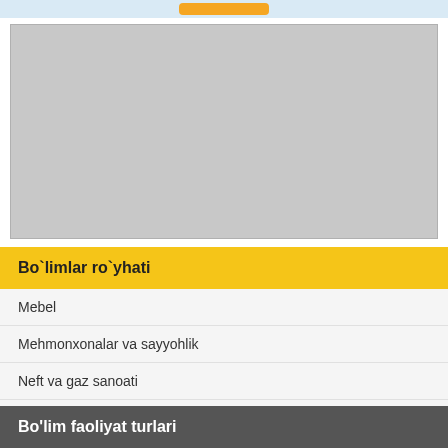[Figure (other): Top light blue banner with an orange/yellow button element]
[Figure (photo): Large gray placeholder image rectangle]
Bo`limlar ro`yhati
Mebel
Mehmonxonalar va sayyohlik
Neft va gaz sanoati
Bo`...
Bo'lim faoliyat turlari